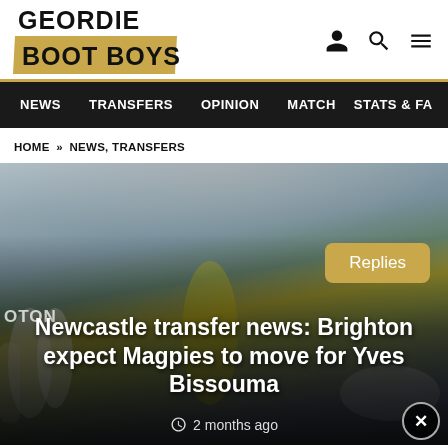[Figure (logo): Geordie Boot Boys site logo with gold/tan background banner]
NEWS  TRANSFERS  OPINION  MATCH  STATS & FA
HOME » NEWS, TRANSFERS
[Figure (photo): Football players on pitch, one in yellow Brighton kit, others in white]
Replies
Newcastle transfer news: Brighton expect Magpies to move for Yves Bissouma
2 months ago